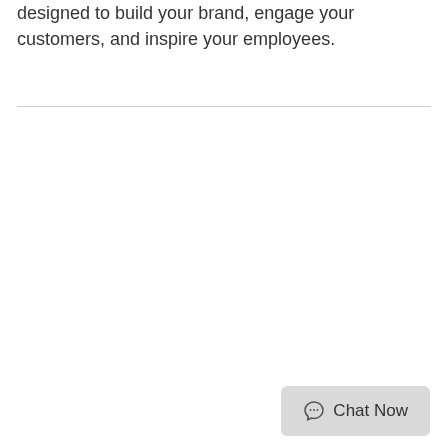designed to build your brand, engage your customers, and inspire your employees.
[Figure (other): Chat Now button widget in bottom-right corner with speech bubble icon]